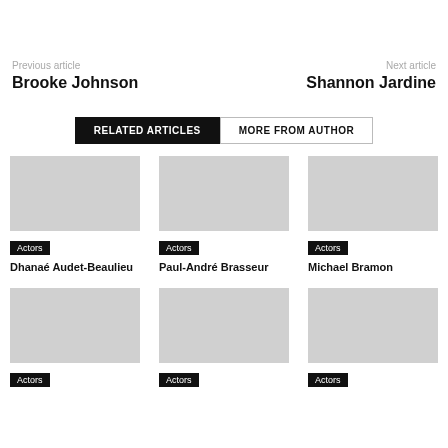Previous article
Brooke Johnson
Next article
Shannon Jardine
RELATED ARTICLES | MORE FROM AUTHOR
Actors
Dhanaé Audet-Beaulieu
Actors
Paul-André Brasseur
Actors
Michael Bramon
Actors
Actors
Actors